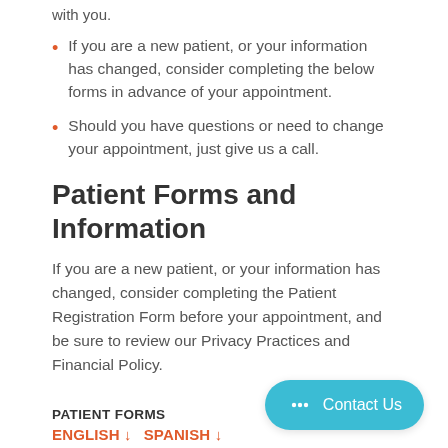with you.
If you are a new patient, or your information has changed, consider completing the below forms in advance of your appointment.
Should you have questions or need to change your appointment, just give us a call.
Patient Forms and Information
If you are a new patient, or your information has changed, consider completing the Patient Registration Form before your appointment, and be sure to review our Privacy Practices and Financial Policy.
PATIENT FORMS
ENGLISH ↓   SPANISH ↓